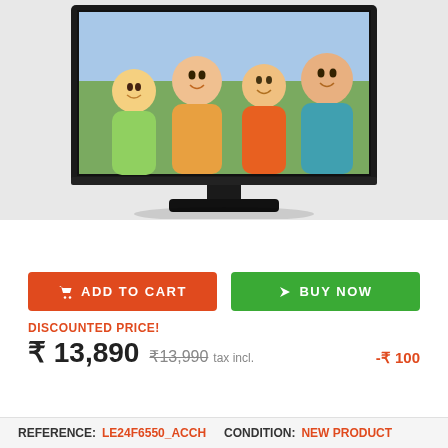[Figure (photo): A LED television displaying a smiling Indian family of four (two adults and two children) on its screen. The TV is shown with a black bezel, stand, and shadow on a light gray background.]
ADD TO CART
BUY NOW
DISCOUNTED PRICE!
₹ 13,890  ₹13,990 tax incl.  -₹ 100
REFERENCE: LE24F6550_ACCH  CONDITION: NEW PRODUCT